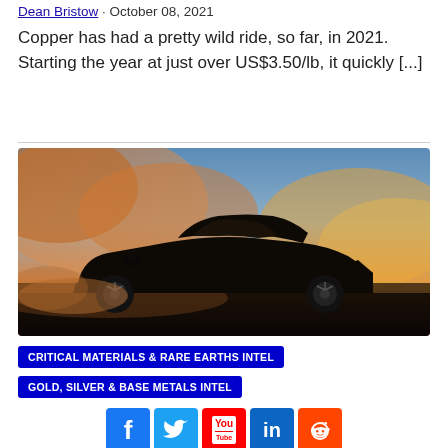Dean Bristow · October 08, 2021
Copper has had a pretty wild ride, so far, in 2021. Starting the year at just over US$3.50/lb, it quickly [...]
[Figure (photo): Silhouette of a classic muscle car against a dramatic orange and blue sunset sky with dust clouds]
CRITICAL MATERIALS & RARE EARTHS INTEL
GOLD, SILVER & BASE METALS INTEL